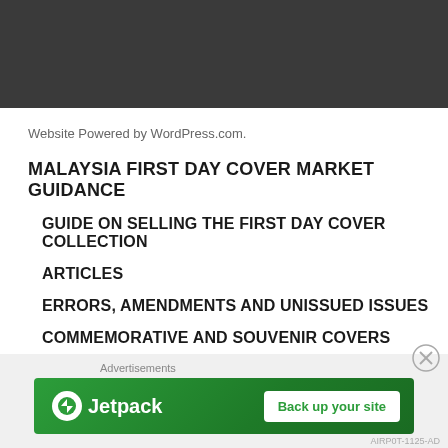Website Powered by WordPress.com.
MALAYSIA FIRST DAY COVER MARKET GUIDANCE
GUIDE ON SELLING THE FIRST DAY COVER COLLECTION
ARTICLES
ERRORS, AMENDMENTS AND UNISSUED ISSUES
COMMEMORATIVE AND SOUVENIR COVERS
PRE-MALAYSIA   MALAYSIA   EXCESS MINIATURE SHEETS
[Figure (other): Advertisements section: Jetpack ad banner with 'Back up your site' button. Close button (X) in bottom right area.]